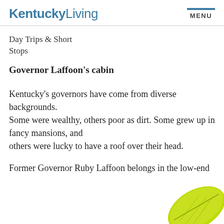Kentucky Living MENU
Day Trips & Short Stops
Governor Laffoon's cabin
Kentucky's governors have come from diverse backgrounds.
Some were wealthy, others poor as dirt. Some grew up in fancy mansions, and others were lucky to have a roof over their head.
Former Governor Ruby Laffoon belongs in the low-end